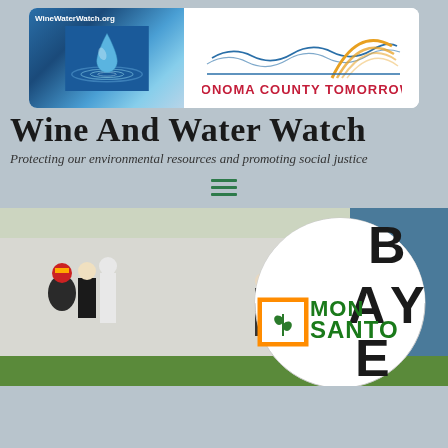[Figure (logo): Wine Water Watch and Sonoma County Tomorrow logo banner. Left side shows a water drop ripple image with 'WineWaterWatch.org' text on blue background. Right side shows Sonoma County Tomorrow logo with sunrise/sunset arc design and text 'SONOMA COUNTY TOMORROW'.]
Wine And Water Watch
Protecting our environmental resources and promoting social justice
[Figure (photo): Protest scene with people in costumes including skeleton/death figures, a large circular sign combining Bayer and Monsanto logos (half Bayer cross, half Monsanto logo with green plant icon and text 'MONSANTO' in green). The sign shows 'B A Y E' letters visible around the circle. People are gathered outside a building.]